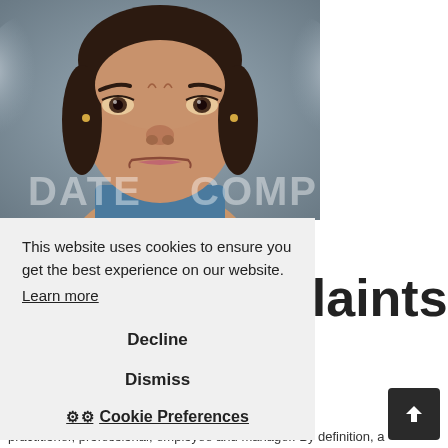[Figure (photo): Close-up photo of a frustrated or angry woman with furrowed brows, with watermark text 'DATE' and 'COMPL' overlaid at the bottom of the image]
plaints
This website uses cookies to ensure you get the best experience on our website.
Learn more
Decline
Dismiss
Cookie Preferences
t, job candi
practitioner, professional, employee and manager. By definition, a